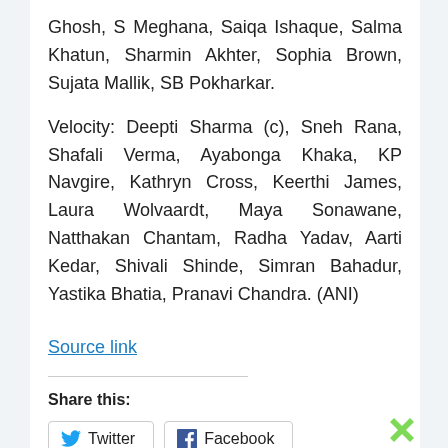Ghosh, S Meghana, Saiqa Ishaque, Salma Khatun, Sharmin Akhter, Sophia Brown, Sujata Mallik, SB Pokharkar.
Velocity: Deepti Sharma (c), Sneh Rana, Shafali Verma, Ayabonga Khaka, KP Navgire, Kathryn Cross, Keerthi James, Laura Wolvaardt, Maya Sonawane, Natthakan Chantam, Radha Yadav, Aarti Kedar, Shivali Shinde, Simran Bahadur, Yastika Bhatia, Pranavi Chandra. (ANI)
Source link
Share this:
Twitter
Facebook